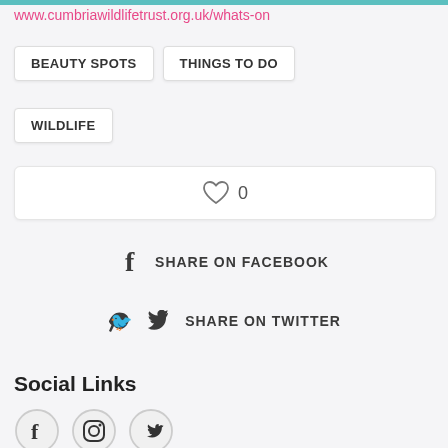www.cumbriawildlifetrust.org.uk/whats-on
BEAUTY SPOTS
THINGS TO DO
WILDLIFE
[Figure (other): Heart/like button with count 0]
SHARE ON FACEBOOK
SHARE ON TWITTER
Social Links
[Figure (other): Social media icons: Facebook, Instagram, Twitter]